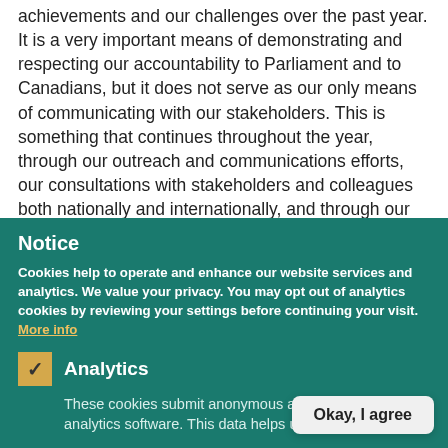achievements and our challenges over the past year. It is a very important means of demonstrating and respecting our accountability to Parliament and to Canadians, but it does not serve as our only means of communicating with our stakeholders. This is something that continues throughout the year, through our outreach and communications efforts, our consultations with stakeholders and colleagues both nationally and internationally, and through our case reports.
Notice
Cookies help to operate and enhance our website services and analytics. We value your privacy. You may opt out of analytics cookies by reviewing your settings before continuing your visit. More info
Analytics
These cookies submit anonymous activity data to analytics software. This data helps u… website.
Okay, I agree